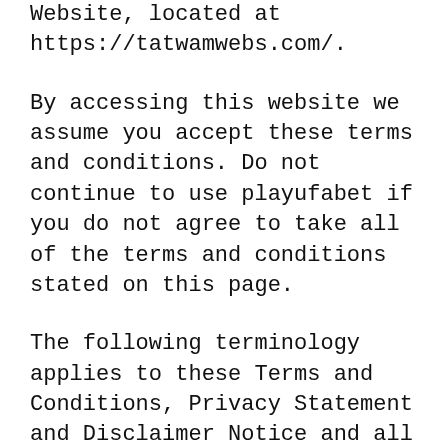Website, located at https://tatwamwebs.com/.
By accessing this website we assume you accept these terms and conditions. Do not continue to use playufabet if you do not agree to take all of the terms and conditions stated on this page.
The following terminology applies to these Terms and Conditions, Privacy Statement and Disclaimer Notice and all Agreements: “Client”, “You” and “Your” refers to you, the person log on this website and compliant to the Company’s terms and conditions. “The Company”, “Ourselves”, “We”, “Our” and “Us”, refers to our Company. “Party”, “Parties”, or “Us”, refers to both the Client